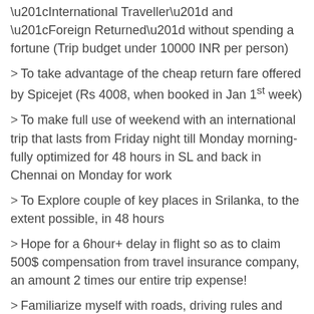“International Traveller” and “Foreign Returned” without spending a fortune (Trip budget under 10000 INR per person)
To take advantage of the cheap return fare offered by Spicejet (Rs 4008, when booked in Jan 1st week)
To make full use of weekend with an international trip that lasts from Friday night till Monday morning- fully optimized for 48 hours in SL and back in Chennai on Monday for work
To Explore couple of key places in Srilanka, to the extent possible, in 48 hours
Hope for a 6hour+ delay in flight so as to claim 500$ compensation from travel insurance company, an amount 2 times our entire trip expense!
Familiarize myself with roads, driving rules and other aspects of Srilanka, so as to